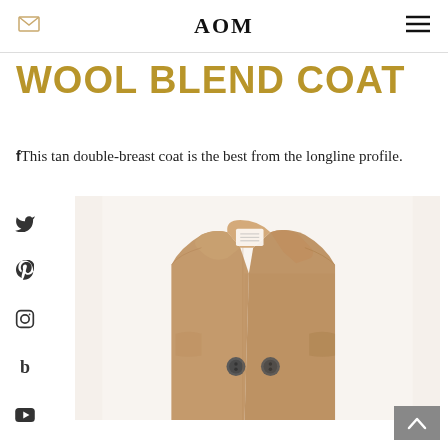AOM
WOOL BLEND COAT
This tan double-breast coat is the best from the longline profile.
[Figure (photo): A tan/camel wool blend double-breasted coat photographed on a white background, showing the upper torso area with wide lapels and two visible buttons.]